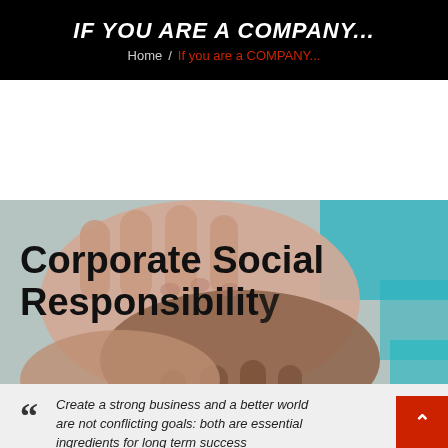IF YOU ARE A COMPANY...
Home / If you are a COMPANY...
[Figure (photo): Close-up photograph of multiple hands clasped together, showing diverse skin tones against a background with teal/cyan color visible]
Corporate Social Responsibility
Create a strong business and a better world are not conflicting goals: both are essential ingredients for long term success